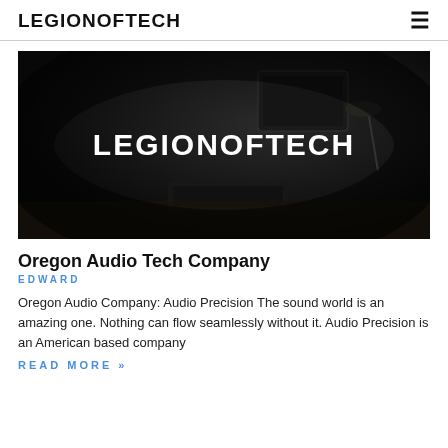LEGIONOFTECH
[Figure (photo): Dark background hero image of a tech workspace with a monitor; white bold text overlay reads LEGIONOFTECH]
Oregon Audio Tech Company
EDWARD
Oregon Audio Company: Audio Precision The sound world is an amazing one. Nothing can flow seamlessly without it. Audio Precision is an American based company
READ MORE »